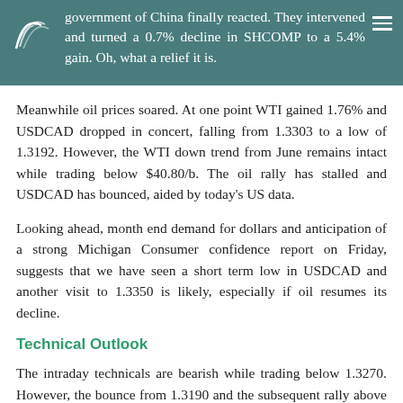government of China finally reacted. They intervened and turned a 0.7% decline in SHCOMP to a 5.4% gain. Oh, what a relief it is.
Meanwhile oil prices soared. At one point WTI gained 1.76% and USDCAD dropped in concert, falling from 1.3303 to a low of 1.3192. However, the WTI down trend from June remains intact while trading below $40.80/b. The oil rally has stalled and USDCAD has bounced, aided by today's US data.
Looking ahead, month end demand for dollars and anticipation of a strong Michigan Consumer confidence report on Friday, suggests that we have seen a short term low in USDCAD and another visit to 1.3350 is likely, especially if oil resumes its decline.
Technical Outlook
The intraday technicals are bearish while trading below 1.3270. However, the bounce from 1.3190 and the subsequent rally above 1.3240 has hung a target on that downtrend. A break above 1.3270 will negate the downside pressure and lead back to 1.3350. A failure at 1.3270 means a retest of 1.3190.